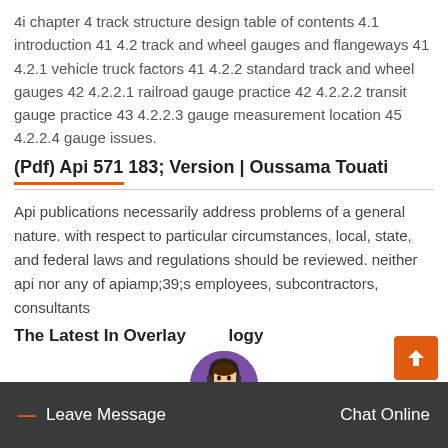4i chapter 4 track structure design table of contents 4.1 introduction 41 4.2 track and wheel gauges and flangeways 41 4.2.1 vehicle truck factors 41 4.2.2 standard track and wheel gauges 42 4.2.2.1 railroad gauge practice 42 4.2.2.2 transit gauge practice 43 4.2.2.3 gauge measurement location 45 4.2.2.4 gauge issues.
(Pdf) Api 571 183; Version | Oussama Touati
Api publications necessarily address problems of a general nature. with respect to particular circumstances, local, state, and federal laws and regulations should be reviewed. neither api nor any of apiamp;39;s employees, subcontractors, consultants
The Latest In Overlay Technology
— Leave Message
Chat Online